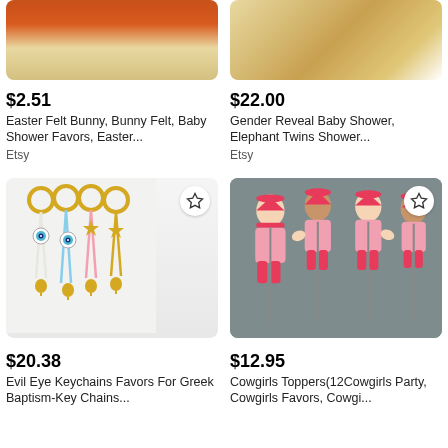[Figure (photo): Cropped top of orange felt bunny product image]
[Figure (photo): Cropped top of gender reveal baby shower product on wood background]
$2.51
Easter Felt Bunny, Bunny Felt, Baby Shower Favors, Easter...
Etsy
$22.00
Gender Reveal Baby Shower, Elephant Twins Shower...
Etsy
[Figure (photo): Evil eye keychains with gold rings and colorful tassels on white background]
[Figure (photo): Cowgirl baby figures with red hats and boots as cake toppers on gray background]
$20.38
Evil Eye Keychains Favors For Greek Baptism-Key Chains...
$12.95
Cowgirls Toppers(12Cowgirls Party, Cowgirls Favors, Cowgi...